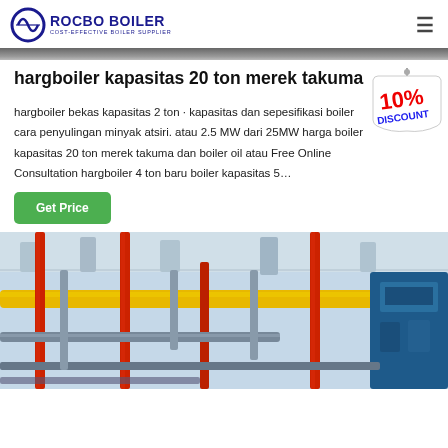ROCBO BOILER — COST-EFFECTIVE BOILER SUPPLIER
[Figure (photo): Top gray image strip, partial view of industrial scene]
hargboiler kapasitas 20 ton merek takuma
hargboiler bekas kapasitas 2 ton · kapasitas dan sepesifikasi boiler cara penyulingan minyak atsiri. atau 2.5 MW dari 25MW harga boiler kapasitas 20 ton merek takuma dan boiler oil atau Free Online Consultation hargboiler 4 ton baru boiler kapasitas 5…
[Figure (illustration): 10% DISCOUNT badge/sticker]
Get Price
[Figure (photo): Industrial boiler room with yellow and red pipes on ceiling]